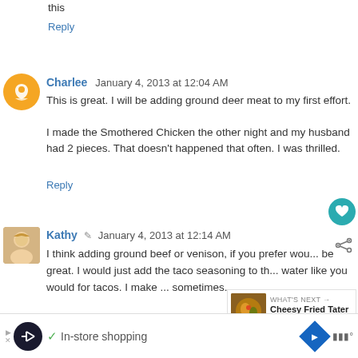this
Reply
Charlee  January 4, 2013 at 12:04 AM
This is great. I will be adding ground deer meat to my first effort.
I made the Smothered Chicken the other night and my husband had 2 pieces. That doesn't happened that often. I was thrilled.
Reply
Kathy  January 4, 2013 at 12:14 AM
I think adding ground beef or venison, if you prefer wou... be great. I would just add the taco seasoning to th... water like you would for tacos. I make ... sometimes.
WHAT'S NEXT → Cheesy Fried Tater Skillet!
Reply
In-store shopping